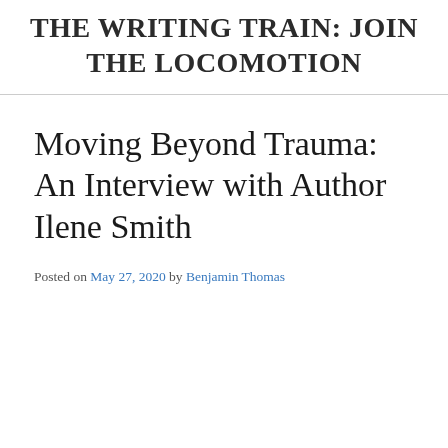THE WRITING TRAIN: JOIN THE LOCOMOTION
Moving Beyond Trauma: An Interview with Author Ilene Smith
Posted on May 27, 2020 by Benjamin Thomas